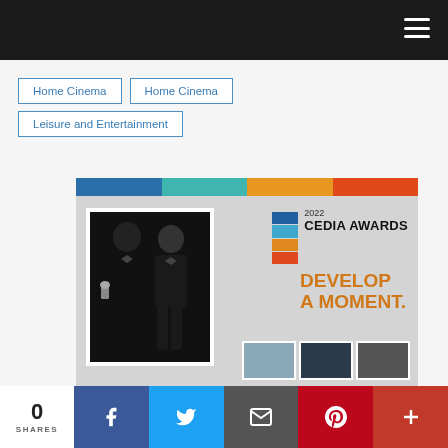Navigation bar with hamburger menu
Home Cinema
Home Cinema
Leisure and Entertainment
[Figure (photo): CEDIA 2022 Awards promotional image showing two men in tuxedos holding an award, with colored stripe header, CEDIA Awards logo, 'DEVELOP A MOMENT.' text in orange, and three small event photos at bottom.]
0 SHARES
Social share bar with Facebook, Twitter, Email, Pinterest, and More buttons